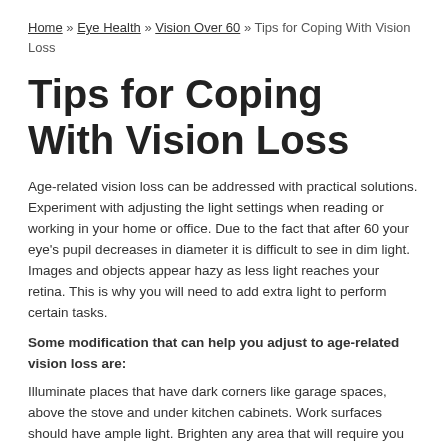Home » Eye Health » Vision Over 60 » Tips for Coping With Vision Loss
Tips for Coping With Vision Loss
Age-related vision loss can be addressed with practical solutions. Experiment with adjusting the light settings when reading or working in your home or office. Due to the fact that after 60 your eye's pupil decreases in diameter it is difficult to see in dim light. Images and objects appear hazy as less light reaches your retina. This is why you will need to add extra light to perform certain tasks.
Some modification that can help you adjust to age-related vision loss are:
Illuminate places that have dark corners like garage spaces, above the stove and under kitchen cabinets. Work surfaces should have ample light. Brighten any area that will require you